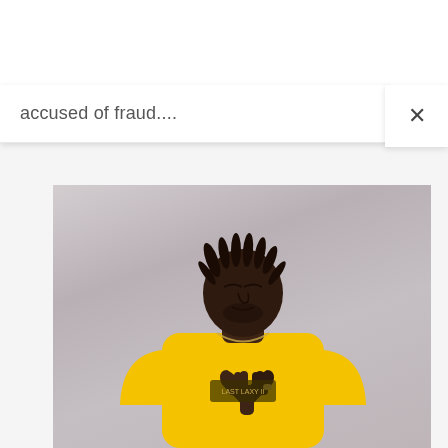accused of fraud....
[Figure (photo): A man with dreadlocks wearing a yellow sweatshirt, eyes closed, hands clasped together in a prayer pose, with a chain necklace, posing against a light gray background.]